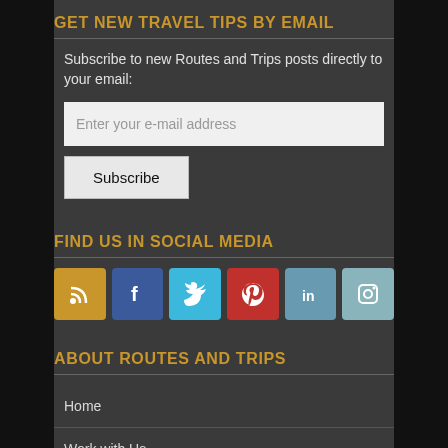GET NEW TRAVEL TIPS BY EMAIL
Subscribe to new Routes and Trips posts directly to your email:
[Figure (screenshot): Email input field with placeholder 'Enter your e-mail address' and a Subscribe button below]
FIND US IN SOCIAL MEDIA
[Figure (infographic): Social media icons: RSS (gold), Facebook (blue), Twitter (light blue), Pinterest (red), LinkedIn (steel blue), Instagram (teal)]
ABOUT ROUTES AND TRIPS
Home
Work with Us
Disclaimer and Privacy Policy